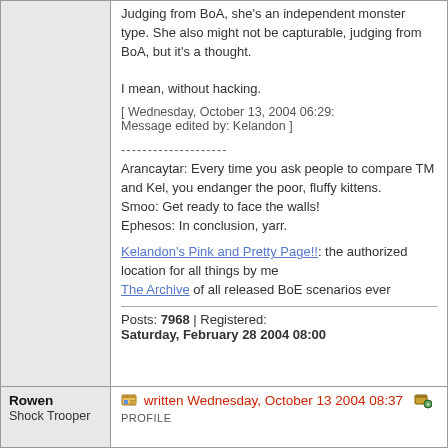Judging from BoA, she's an independent monster type. She also might not be capturable, judging from BoA, but it's a thought.

I mean, without hacking.
[ Wednesday, October 13, 2004 06:29: Message edited by: Kelandon ]
--------------------
Arancaytar: Every time you ask people to compare TM and Kel, you endanger the poor, fluffy kittens.
Smoo: Get ready to face the walls!
Ephesos: In conclusion, yarr.
Kelandon's Pink and Pretty Page!!: the authorized location for all things by me
The Archive of all released BoE scenarios ever
Posts: 7968 | Registered: Saturday, February 28 2004 08:00
Rowen
Shock Trooper
written Wednesday, October 13 2004 08:37  PROFILE